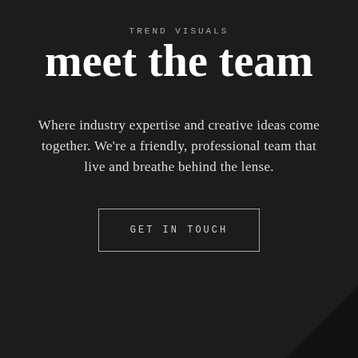TREND VISUALS
meet the team
Where industry expertise and creative ideas come together. We're a friendly, professional team that live and breathe behind the lense.
GET IN TOUCH